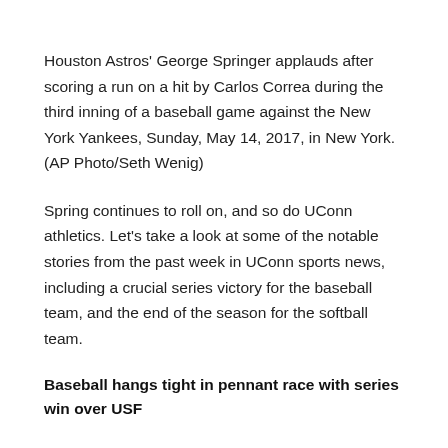Houston Astros' George Springer applauds after scoring a run on a hit by Carlos Correa during the third inning of a baseball game against the New York Yankees, Sunday, May 14, 2017, in New York. (AP Photo/Seth Wenig)
Spring continues to roll on, and so do UConn athletics. Let's take a look at some of the notable stories from the past week in UConn sports news, including a crucial series victory for the baseball team, and the end of the season for the softball team.
Baseball hangs tight in pennant race with series win over USF
The UConn baseball team hosted USF, an American Athletic Conference competitor that comes to Storrs with a 29-18 record and...